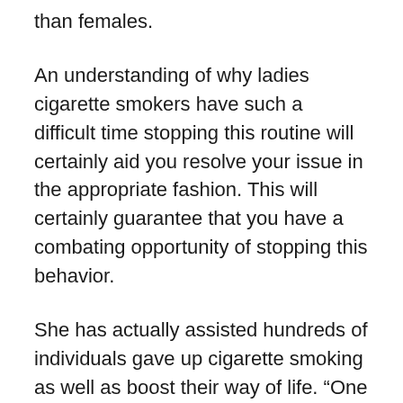than females.
An understanding of why ladies cigarette smokers have such a difficult time stopping this routine will certainly aid you resolve your issue in the appropriate fashion. This will certainly guarantee that you have a combating opportunity of stopping this behavior.
She has actually assisted hundreds of individuals gave up cigarette smoking as well as boost their way of life. “One of the ideal techniques I utilize to aid individuals give up smoking cigarettes is by utilizing the newest as well as most innovative smoking cigarettes choice tools.